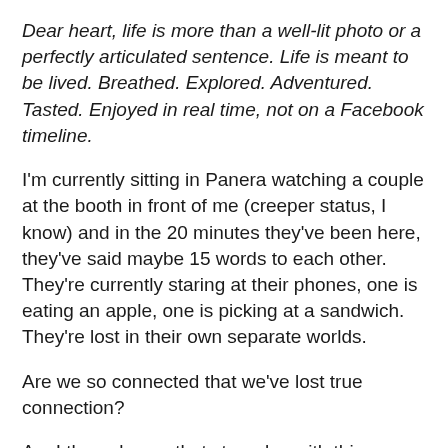Dear heart, life is more than a well-lit photo or a perfectly articulated sentence. Life is meant to be lived. Breathed. Explored. Adventured. Tasted. Enjoyed in real time, not on a Facebook timeline.
I'm currently sitting in Panera watching a couple at the booth in front of me (creeper status, I know) and in the 20 minutes they've been here, they've said maybe 15 words to each other. They're currently staring at their phones, one is eating an apple, one is picking at a sandwich. They're lost in their own separate worlds.
Are we so connected that we've lost true connection?
Am I the only one that struggles with this documentation syndrome? Maybe so. Regardless, my prayer is that we spend our lives with our senses and hearts engaged